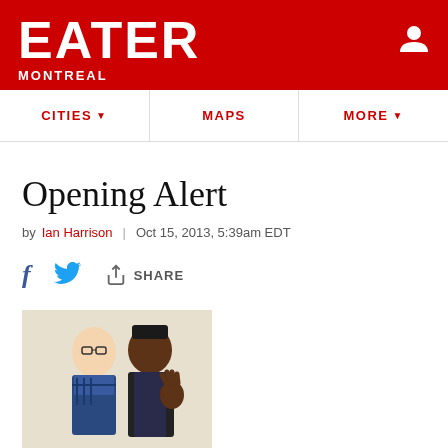EATER MONTREAL
CITIES ▾   MAPS   MORE ▾
Opening Alert
by Ian Harrison | Oct 15, 2013, 5:39am EDT
[Figure (other): Social share bar with Facebook, Twitter, and Share icons]
[Figure (photo): Two restaurant staff members wearing aprons, standing side by side posing for a photo]
It's perhaps the quietest most anticipated restaurant unveiling in recent memory, but